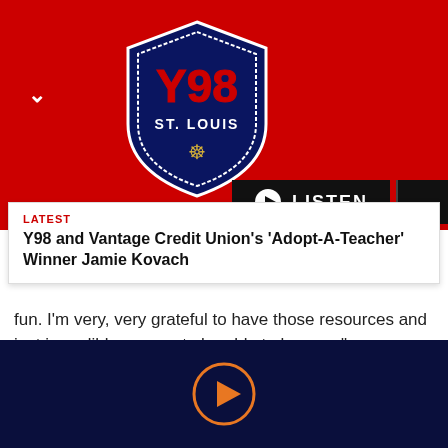[Figure (logo): Y98 St. Louis radio station logo — navy blue badge/shield shape with red text 'Y98' and 'ST. LOUIS' and a gold fleur-de-lis]
[Figure (screenshot): Black LISTEN button with white play triangle icon and white text 'LISTEN', with a chevron dropdown button beside it]
LATEST
Y98 and Vantage Credit Union's 'Adopt-A-Teacher' Winner Jamie Kovach
fun. I'm very, very grateful to have those resources and just incredible women to be able to lean on."
MANDY also revealed that they started shooting the series finale of "This Is Us" three years ago, because the young kids were growing up too fast.
[Figure (other): Orange circle play button icon on dark navy background footer]